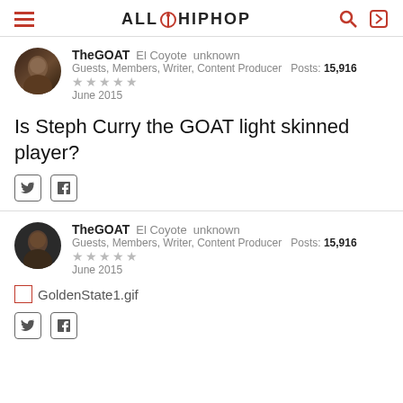ALLHIPHOP
TheGOAT   El Coyote   unknown
Guests, Members, Writer, Content Producer   Posts: 15,916
★★★★★
June 2015
Is Steph Curry the GOAT light skinned player?
TheGOAT   El Coyote   unknown
Guests, Members, Writer, Content Producer   Posts: 15,916
★★★★★
June 2015
[Figure (other): GoldenState1.gif broken image placeholder]
GoldenState1.gif